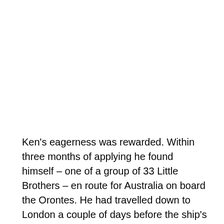Ken's eagerness was rewarded. Within three months of applying he found himself – one of a group of 33 Little Brothers – en route for Australia on board the Orontes. He had travelled down to London a couple of days before the ship's departure, giving him time to attend a jazz concert at the Stoll Theatre. 'I'm a jazz fanatic. There was a New Orleans clarinet player called George Lewis. He was one of my idols. That was